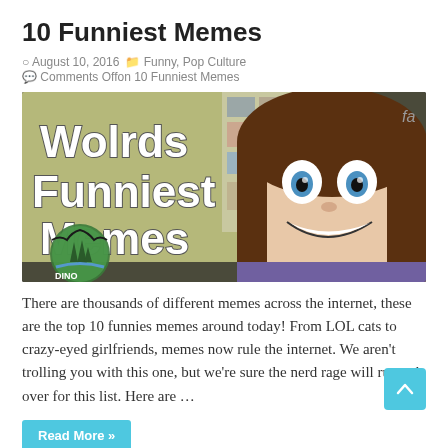10 Funniest Memes
August 10, 2016   Funny, Pop Culture  Comments Offon 10 Funniest Memes
[Figure (photo): Meme image with text 'Wolrds Funniest Memes' overlaid on an image of a wide-eyed smiling woman with brown hair, with a Dino Creek logo in the lower left corner.]
There are thousands of different memes across the internet, these are the top 10 funnies memes around today! From LOL cats to crazy-eyed girlfriends, memes now rule the internet. We aren't trolling you with this one, but we're sure the nerd rage will runneth over for this list. Here are …
Read More »